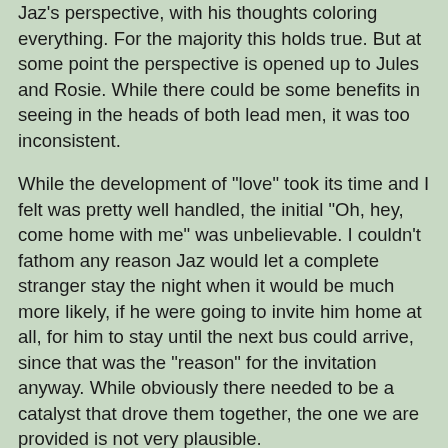Jaz's perspective, with his thoughts coloring everything. For the majority this holds true. But at some point the perspective is opened up to Jules and Rosie. While there could be some benefits in seeing in the heads of both lead men, it was too inconsistent.
While the development of "love" took its time and I felt was pretty well handled, the initial "Oh, hey, come home with me" was unbelievable. I couldn't fathom any reason Jaz would let a complete stranger stay the night when it would be much more likely, if he were going to invite him home at all, for him to stay until the next bus could arrive, since that was the "reason" for the invitation anyway. While obviously there needed to be a catalyst that drove them together, the one we are provided is not very plausible.
While it didn't particularly bother me, and most just made me roll my eyes in good humor, this story does have a Big Misunderstanding. If you don't like that, you'll probably want to stay away from this classically performed example.
Requested this book for review.